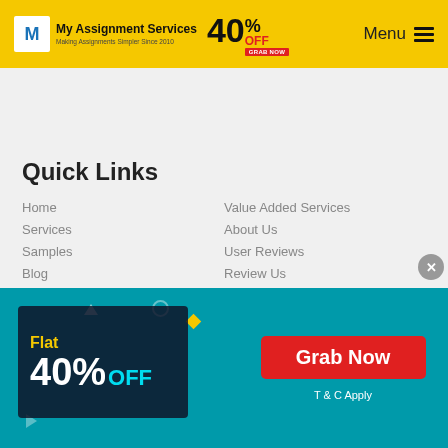My Assignment Services — 40% OFF — Menu
Quick Links
Home
Services
Samples
Blog
FAQs
Offers
Value Added Services
About Us
User Reviews
Review Us
Our Policies
Privacy Policy
[Figure (infographic): Flat 40% OFF promotional banner with Grab Now button and T & C Apply text on teal background]